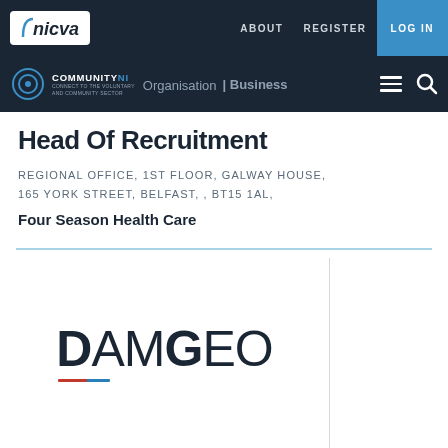nicva — ABOUT   REGISTER   LOG IN
COMMUNITY NI | Organisation | Business
Head Of Recruitment
REGIONAL OFFICE, 1ST FLOOR, GALWAY HOUSE, 165 YORK STREET, BELFAST, , BT15 1AL,
Four Season Health Care
[Figure (logo): DAMGEO logo in large bold text with a red/blue underline bar]